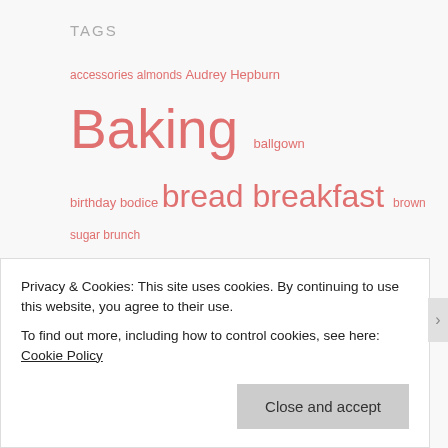TAGS
accessories almonds Audrey Hepburn Baking ballgown birthday bodice bread breakfast brown sugar brunch butter cake candy caramel cheese chocolate cinnamon cocoa Cookies cosplay Costume costumes cotton cream cream cheese crust cupcakes cute food dessert Desserts dinner disney diy dress Edwardian eggs ellen terry embroidery fabric frosting
Privacy & Cookies: This site uses cookies. By continuing to use this website, you agree to their use.
To find out more, including how to control cookies, see here: Cookie Policy
Close and accept